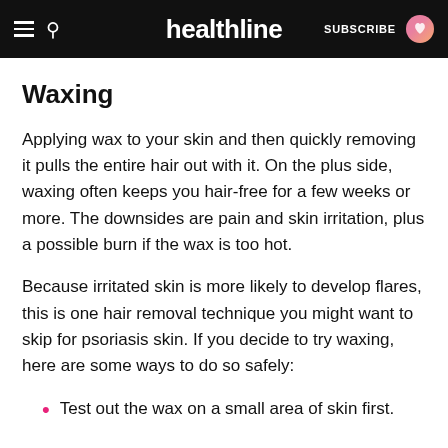healthline | SUBSCRIBE
Waxing
Applying wax to your skin and then quickly removing it pulls the entire hair out with it. On the plus side, waxing often keeps you hair-free for a few weeks or more. The downsides are pain and skin irritation, plus a possible burn if the wax is too hot.
Because irritated skin is more likely to develop flares, this is one hair removal technique you might want to skip for psoriasis skin. If you decide to try waxing, here are some ways to do so safely:
Test out the wax on a small area of skin first.